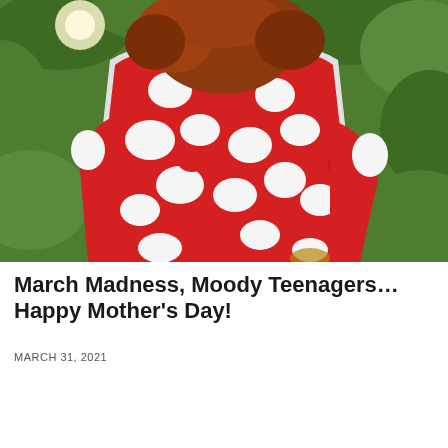[Figure (photo): A person with red/auburn hair wearing a red and white floral patterned dress or top, standing outdoors with green foliage in the background.]
March Madness, Moody Teenagers… Happy Mother's Day!
MARCH 31, 2021